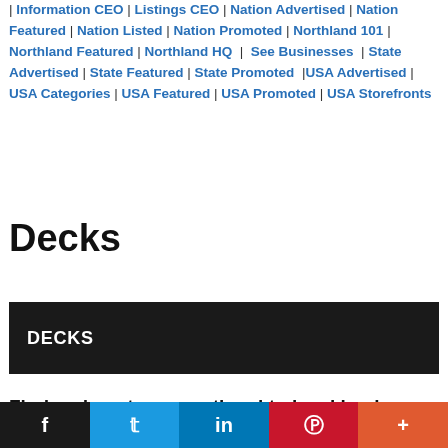| Information CEO | Listings CEO | Nation Advertised | Nation Featured | Nation Listed | Nation Promoted | Northland 101 | Northland Featured | Northland HQ | See Businesses | State Advertised | State Featured | State Promoted |USA Advertised | USA Categories | USA Featured | USA Promoted | USA Storefronts
Decks
DECKS
Find and post more national to local business
f  t  in  P  +